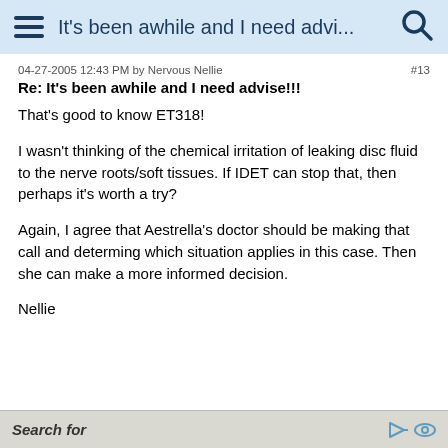It's been awhile and I need advi...
04-27-2005 12:43 PM by Nervous Nellie  #13
Re: It's been awhile and I need advise!!!
That's good to know ET318!

I wasn't thinking of the chemical irritation of leaking disc fluid to the nerve roots/soft tissues. If IDET can stop that, then perhaps it's worth a try?

Again, I agree that Aestrella's doctor should be making that call and determing which situation applies in this case. Then she can make a more informed decision.

Nellie
Search for